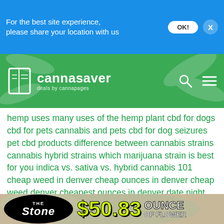For the best site experience, please share your location with us
[Figure (screenshot): Cannasaver logo with book icon and tagline 'deals by cannapages' on green cannabis leaf background]
hemp uses many uses of the hemp plant cbd for dogs cbd for pets cannabis and pets cbd for dog seizures pet cbd products difference between cannabis strains cannabis hybrid strains which marijuana strain is best for you indica vs. sativa vs. hybrid cannabis 101 cheap weed in denver cheap ounces in denver cheap weed denver cheapest ounces in denver date night for stoners 420 date night Best 420 friendly Dates 420 tours in denver sex on weed sex and marijuana 420 friendly sex how to improve your sex life how marijuana makes sex better marijuana for PTSD colorado vote on ptsd veterans marijuana use for ptsd medical marijuana qualifying conditions colorado marijuana laws cannasseur cannabis connoisseur top
[Figure (screenshot): The Stone dispensary advertisement banner showing '$50.83 OUNCE OF FLOWER' with yellow price text and black Stone logo oval]